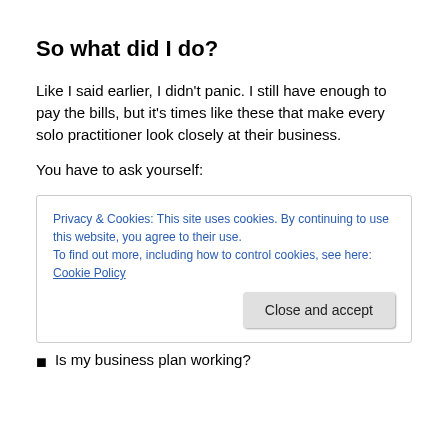So what did I do?
Like I said earlier, I didn't panic. I still have enough to pay the bills, but it's times like these that make every solo practitioner look closely at their business.
You have to ask yourself:
Privacy & Cookies: This site uses cookies. By continuing to use this website, you agree to their use.
To find out more, including how to control cookies, see here: Cookie Policy
[Close and accept]
Is my business plan working?